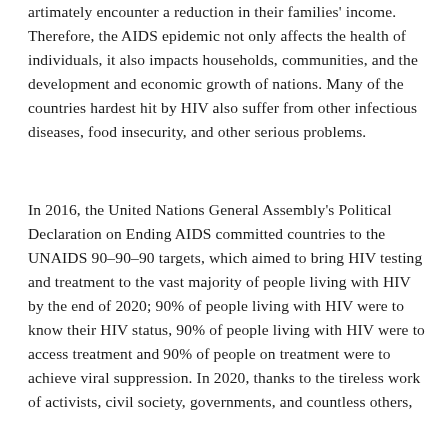artimately encounter a reduction in their families' income. Therefore, the AIDS epidemic not only affects the health of individuals, it also impacts households, communities, and the development and economic growth of nations. Many of the countries hardest hit by HIV also suffer from other infectious diseases, food insecurity, and other serious problems.
In 2016, the United Nations General Assembly's Political Declaration on Ending AIDS committed countries to the UNAIDS 90–90–90 targets, which aimed to bring HIV testing and treatment to the vast majority of people living with HIV by the end of 2020; 90% of people living with HIV were to know their HIV status, 90% of people living with HIV were to access treatment and 90% of people on treatment were to achieve viral suppression. In 2020, thanks to the tireless work of activists, civil society, governments, and countless others, ……data 81 70 64 From 2001 to 2020 for advanced…